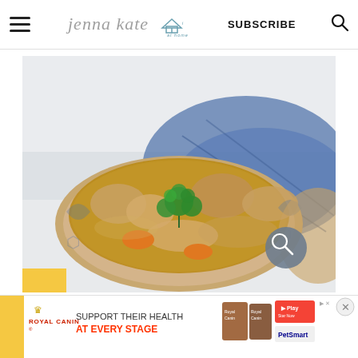jenna kate at home — SUBSCRIBE
[Figure (photo): A bowl of chicken stew with carrots and parsley garnish, served in a blue patterned bowl on a white surface with a blue cloth napkin]
[Figure (infographic): Royal Canin advertisement banner: 'SUPPORT THEIR HEALTH AT EVERY STAGE' with PetSmart branding and dog food bag images]